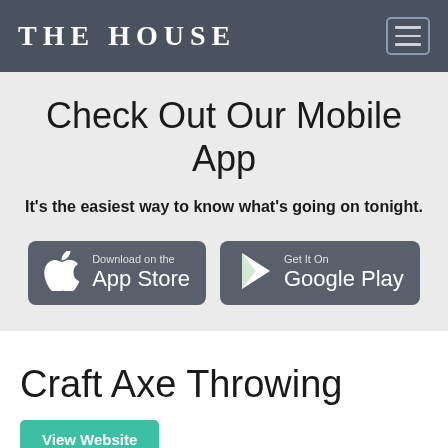THE HOUSE
Check Out Our Mobile App
It's the easiest way to know what's going on tonight.
[Figure (screenshot): App Store download button with Apple logo icon and text 'Download on the App Store']
[Figure (screenshot): Google Play download button with play icon and text 'Get It On Google Play']
Craft Axe Throwing
View Website